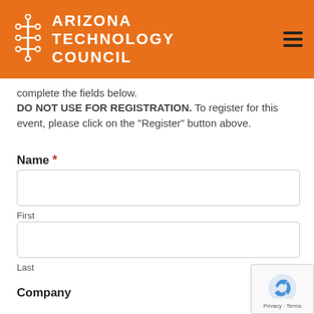[Figure (logo): Arizona Technology Council logo with circuit board icon and orange background header with hamburger menu]
complete the fields below.
DO NOT USE FOR REGISTRATION. To register for this event, please click on the "Register" button above.
Name *
First
Last
Company